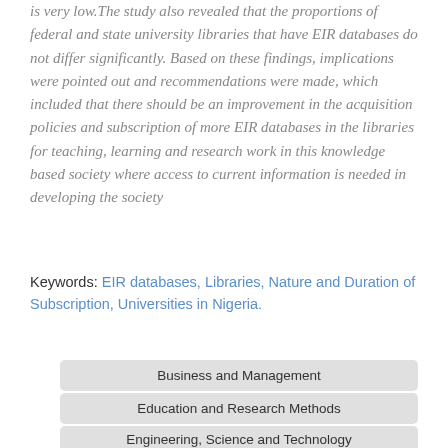is very low.The study also revealed that the proportions of federal and state university libraries that have EIR databases do not differ significantly. Based on these findings, implications were pointed out and recommendations were made, which included that there should be an improvement in the acquisition policies and subscription of more EIR databases in the libraries for teaching, learning and research work in this knowledge based society where access to current information is needed in developing the society
Keywords: EIR databases, Libraries, Nature and Duration of Subscription, Universities in Nigeria.
Business and Management
Education and Research Methods
Engineering, Science and Technology
English Language and Inter-Continental Studies
Health and Agricultural Matters
Health and Food Sciences